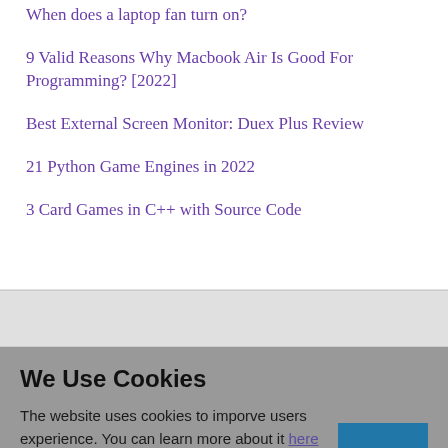When does a laptop fan turn on?
9 Valid Reasons Why Macbook Air Is Good For Programming? [2022]
Best External Screen Monitor: Duex Plus Review
21 Python Game Engines in 2022
3 Card Games in C++ with Source Code
We Use Cookies
The website uses cookies to imporve users experience. You can learn more about it here